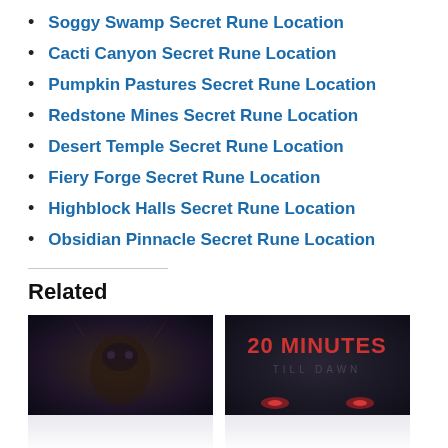Soggy Swamp Secret Rune Location
Cacti Canyon Secret Rune Location
Pumpkin Pastures Secret Rune Location
Redstone Mines Secret Rune Location
Desert Temple Secret Rune Location
Fiery Forge Secret Rune Location
Highblock Halls Secret Rune Location
Obsidian Pinnacle Secret Rune Location
Related
[Figure (photo): Dark atmospheric game artwork showing a creature]
[Figure (photo): Game promotional image with text '20 MINUTES TILL DAWN']